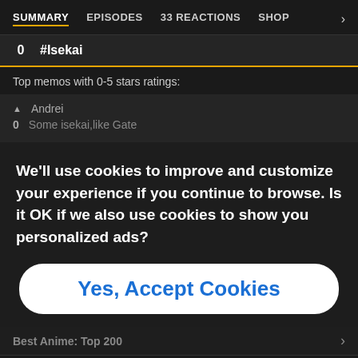SUMMARY  EPISODES  33 REACTIONS  SHOP
0  #Isekai
Top memos with 0-5 stars ratings:
▲  Andrei
0  Some isekai,like Gate
We'll use cookies to improve and customize your experience if you continue to browse. Is it OK if we also use cookies to show you personalized ads?
Yes, Accept Cookies
Best Anime: Top 200
56.  Haikyuu!! To the Top